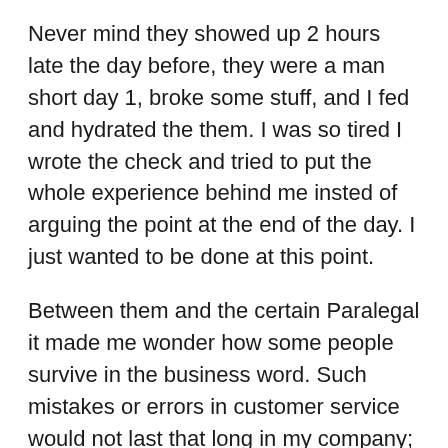Never mind they showed up 2 hours late the day before, they were a man short day 1, broke some stuff, and I fed and hydrated the them. I was so tired I wrote the check and tried to put the whole experience behind me insted of arguing the point at the end of the day. I just wanted to be done at this point.
Between them and the certain Paralegal it made me wonder how some people survive in the business word. Such mistakes or errors in customer service would not last that long in my company; or that of my wife’s.
Breaking news....before I get too nasty on some people the blows here keep coming.
If you have a garage you most certainly have to step ‘up’ into your house when you enter your house. This suggests